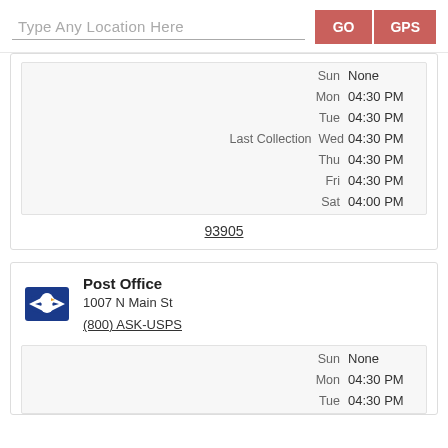Type Any Location Here
| Label | Day | Time |
| --- | --- | --- |
|  | Sun | None |
|  | Mon | 04:30 PM |
|  | Tue | 04:30 PM |
| Last Collection | Wed | 04:30 PM |
|  | Thu | 04:30 PM |
|  | Fri | 04:30 PM |
|  | Sat | 04:00 PM |
93905
Post Office
1007 N Main St
(800) ASK-USPS
| Day | Time |
| --- | --- |
| Sun | None |
| Mon | 04:30 PM |
| Tue | 04:30 PM |